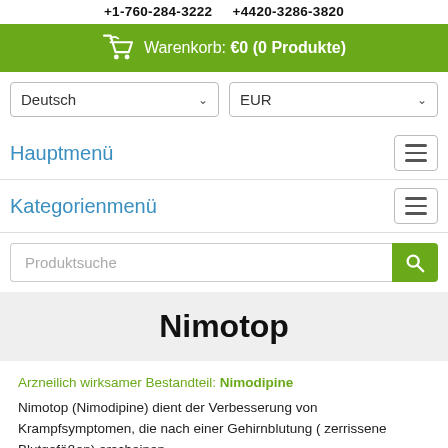+1-760-284-3222   +4420-3286-3820
Warenkorb: €0 (0 Produkte)
Deutsch
EUR
Hauptmenü
Kategorienmenü
Produktsuche
Nimotop
Arzneilich wirksamer Bestandteil: Nimodipine
Nimotop (Nimodipine) dient der Verbesserung von Krampfsymptomen, die nach einer Gehirnblutung ( zerrissene Blutgefäßen) erscheinen.